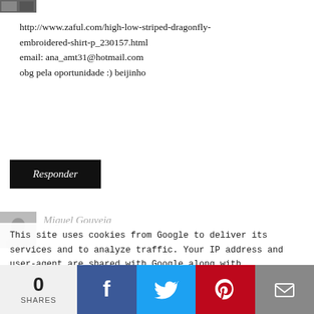[Figure (photo): Small thumbnail image in top left corner]
http://www.zaful.com/high-low-striped-dragonfly-embroidered-shirt-p_230157.html
email: ana_amt31@hotmail.com
obg pela oportunidade :) beijinho
Responder
[Figure (photo): Avatar/profile image of Miguel Gouveia]
Miguel Gouveia
This site uses cookies from Google to deliver its services and to analyze traffic. Your IP address and user-agent are shared with Google along with performance and security metrics to ensure quality of service, generate usage statistics, and to detect and address abuse.
Muio obrigada, por querida!!
Parece-me bem!!! Acho mesmo que vou tentar a minha sorte :P
0
SHARES